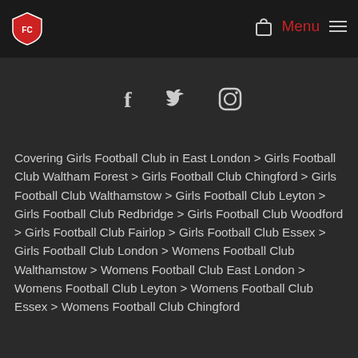[Logo] Menu ☰
[Figure (illustration): Social media icons: Facebook (f), Twitter (bird), Instagram (camera)]
Covering Girls Football Club in East London > Girls Football Club Waltham Forest > Girls Football Club Chingford > Girls Football Club Walthamstow > Girls Football Club Leyton > Girls Football Club Redbridge > Girls Football Club Woodford > Girls Football Club Fairlop > Girls Football Club Essex > Girls Football Club London > Womens Football Club Walthamstow > Womens Football Club East London > Womens Football Club Leyton > Womens Football Club Essex > Womens Football Club Chingford